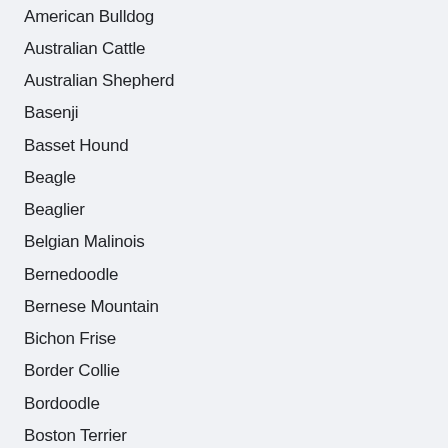American Bulldog
Australian Cattle
Australian Shepherd
Basenji
Basset Hound
Beagle
Beaglier
Belgian Malinois
Bernedoodle
Bernese Mountain
Bichon Frise
Border Collie
Bordoodle
Boston Terrier
Bull Terrier
Bulldog